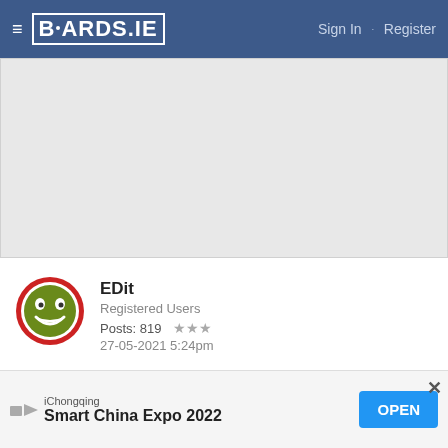≡  BOARDS.IE   Sign In  ·  Register
[Figure (other): Gray advertisement placeholder area]
EDit
Registered Users
Posts: 819  ★★★
27-05-2021 5:24pm
Age 46
Registered 20th May
Text received just now
[Figure (other): Bottom advertisement banner: iChongqing Smart China Expo 2022 with OPEN button]